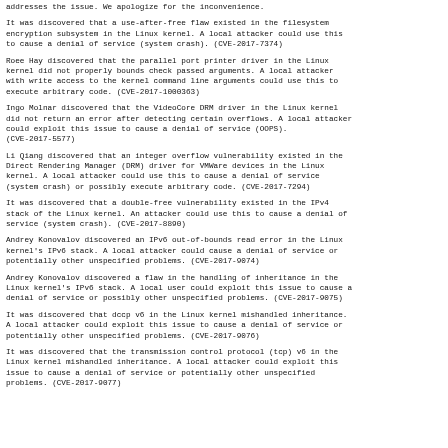addresses the issue. We apologize for the inconvenience.
It was discovered that a use-after-free flaw existed in the filesystem encryption subsystem in the Linux kernel. A local attacker could use this to cause a denial of service (system crash). (CVE-2017-7374)
Roee Hay discovered that the parallel port printer driver in the Linux kernel did not properly bounds check passed arguments. A local attacker with write access to the kernel command line arguments could use this to execute arbitrary code. (CVE-2017-1000363)
Ingo Molnar discovered that the VideoCore DRM driver in the Linux kernel did not return an error after detecting certain overflows. A local attacker could exploit this issue to cause a denial of service (OOPS). (CVE-2017-5577)
Li Qiang discovered that an integer overflow vulnerability existed in the Direct Rendering Manager (DRM) driver for VMWare devices in the Linux kernel. A local attacker could use this to cause a denial of service (system crash) or possibly execute arbitrary code. (CVE-2017-7294)
It was discovered that a double-free vulnerability existed in the IPv4 stack of the Linux kernel. An attacker could use this to cause a denial of service (system crash). (CVE-2017-8890)
Andrey Konovalov discovered an IPv6 out-of-bounds read error in the Linux kernel's IPv6 stack. A local attacker could cause a denial of service or potentially other unspecified problems. (CVE-2017-9074)
Andrey Konovalov discovered a flaw in the handling of inheritance in the Linux kernel's IPv6 stack. A local user could exploit this issue to cause a denial of service or possibly other unspecified problems. (CVE-2017-9075)
It was discovered that dccp v6 in the Linux kernel mishandled inheritance. A local attacker could exploit this issue to cause a denial of service or potentially other unspecified problems. (CVE-2017-9076)
It was discovered that the transmission control protocol (tcp) v6 in the Linux kernel mishandled inheritance. A local attacker could exploit this issue to cause a denial of service or potentially other unspecified problems. (CVE-2017-9077)